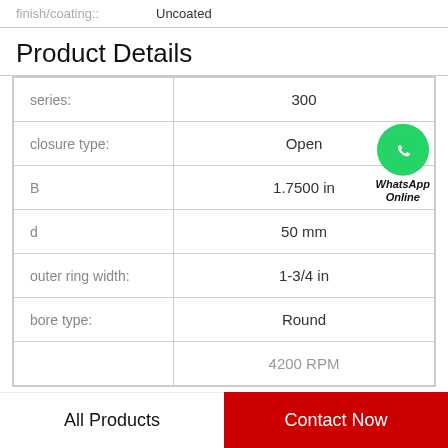finish/coating:: Uncoated
Product Details
| Property | Value |
| --- | --- |
| series: | 300 |
| closure type: | Open |
| B | 1.7500 in |
| d | 50 mm |
| outer ring width: | 1-3/4 in |
| bore type: | Round |
|  | 4200 RPM |
All Products   Contact Now